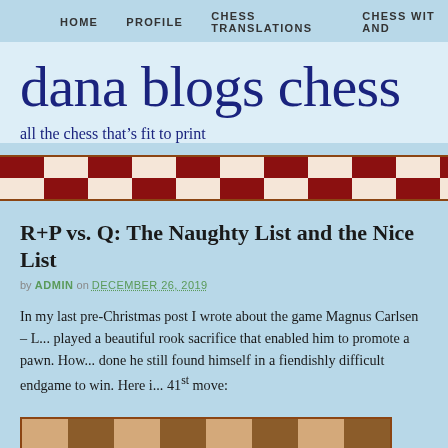HOME   PROFILE   CHESS TRANSLATIONS   CHESS WIT AND
dana blogs chess
all the chess that's fit to print
[Figure (illustration): Checkerboard red and white decorative strip banner]
R+P vs. Q: The Naughty List and the Nice List
by ADMIN on DECEMBER 26, 2019
In my last pre-Christmas post I wrote about the game Magnus Carlsen – L... played a beautiful rook sacrifice that enabled him to promote a pawn. How... done he still found himself in a fiendishly difficult endgame to win. Here i... 41st move:
[Figure (illustration): Partial chess board showing wooden squares with a black queen piece visible on the right side]